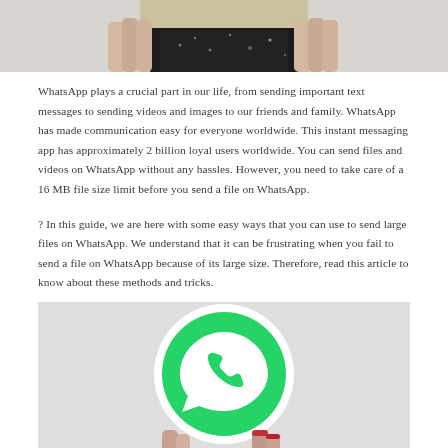[Figure (photo): Partial view of a person holding something, showing hands and dark sparkly clothing against a light gray background — top portion of image only]
WhatsApp plays a crucial part in our life, from sending important text messages to sending videos and images to our friends and family. WhatsApp has made communication easy for everyone worldwide. This instant messaging app has approximately 2 billion loyal users worldwide. You can send files and videos on WhatsApp without any hassles. However, you need to take care of a 16 MB file size limit before you send a file on WhatsApp.
? In this guide, we are here with some easy ways that you can use to send large files on WhatsApp. We understand that it can be frustrating when you fail to send a file on WhatsApp because of its large size. Therefore, read this article to know about these methods and tricks.
[Figure (photo): Person holding a large WhatsApp logo — green circle with white phone/speech bubble icon — against a light gray background]